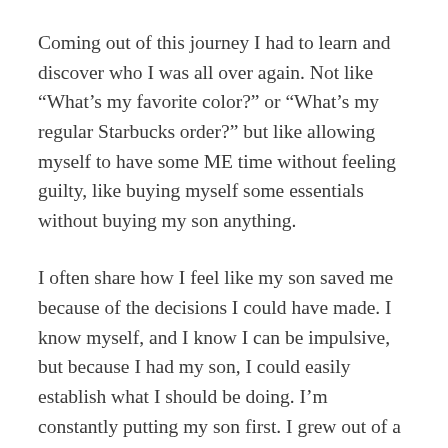Coming out of this journey I had to learn and discover who I was all over again. Not like “What’s my favorite color?” or “What’s my regular Starbucks order?” but like allowing myself to have some ME time without feeling guilty, like buying myself some essentials without buying my son anything.
I often share how I feel like my son saved me because of the decisions I could have made. I know myself, and I know I can be impulsive, but because I had my son, I could easily establish what I should be doing. I’m constantly putting my son first. I grew out of a lot of people and bad habits once I became Oriyon’s mom. The first time I experienced death really close in my family, I had bad coping mechanisms. I was unproductive, angry, and I relied a lot on numbing myself – I didn’t really care about